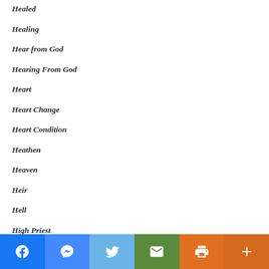Healed
Healing
Hear from God
Hearing From God
Heart
Heart Change
Heart Condition
Heathen
Heaven
Heir
Hell
High Priest
Hireling
Hold Your Peace
Holiness